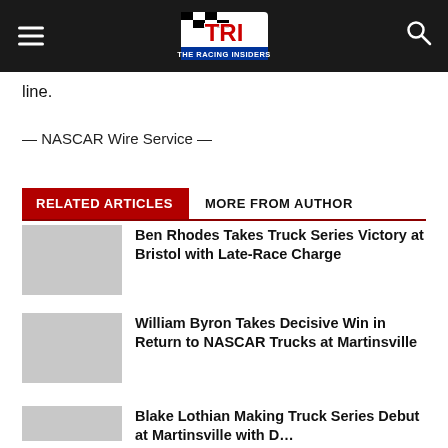TRI - The Racing Insiders
line.
— NASCAR Wire Service —
RELATED ARTICLES
MORE FROM AUTHOR
Ben Rhodes Takes Truck Series Victory at Bristol with Late-Race Charge
William Byron Takes Decisive Win in Return to NASCAR Trucks at Martinsville
Blake Lothian Making Truck Series Debut at Martinsville with D...